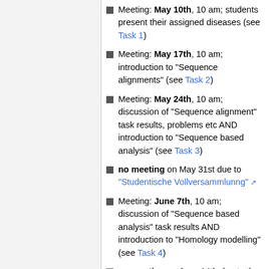Meeting: May 10th, 10 am; students present their assigned diseases (see Task 1)
Meeting: May 17th, 10 am; introduction to "Sequence alignments" (see Task 2)
Meeting: May 24th, 10 am; discussion of "Sequence alignment" task results, problems etc AND introduction to "Sequence based analysis" (see Task 3)
no meeting on May 31st due to "Studentische Vollversammlunng"
Meeting: June 7th, 10 am; discussion of "Sequence based analysis" task results AND introduction to "Homology modelling" (see Task 4)
no meeting on June 14th due to the Whit holiday
Meeting: June 21st, 10 am; discussion of "Homology modelling" task results AND introduction to "Databases: HGMD etc" and discussion of the results (see Task 5) AND introduction to "Sequence based mutation analysis"